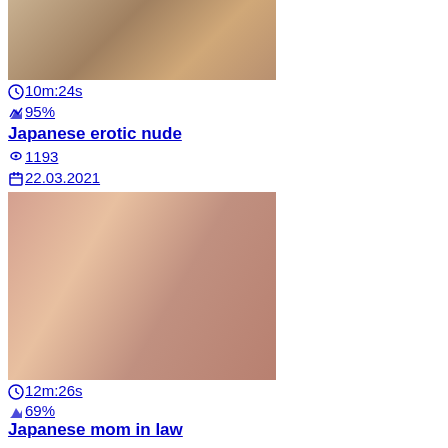[Figure (photo): Thumbnail image of video 1]
10m:24s
95%
Japanese erotic nude
1193
22.03.2021
[Figure (photo): Thumbnail image of video 2]
12m:26s
69%
Japanese mom in law
1947
10.09.2021
[Figure (photo): Partial thumbnail image of video 3]